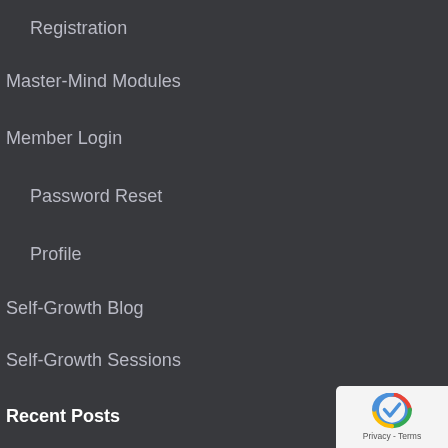Registration
Master-Mind Modules
Member Login
Password Reset
Profile
Self-Growth Blog
Self-Growth Sessions
Speaking
Store
Webinars
Recent Posts
Secrets of Successful People: How they Achieve A Prosperous Life
Yes, real success tips for having a successful life and finding happiness
Yoga and meditation today is helping people create the life they